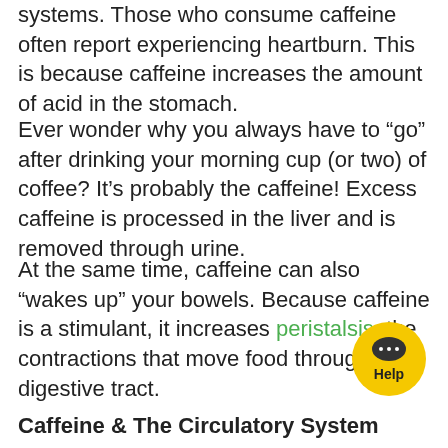systems. Those who consume caffeine often report experiencing heartburn. This is because caffeine increases the amount of acid in the stomach.
Ever wonder why you always have to “go” after drinking your morning cup (or two) of coffee? It’s probably the caffeine! Excess caffeine is processed in the liver and is removed through urine.
At the same time, caffeine can also “wakes up” your bowels. Because caffeine is a stimulant, it increases peristalsis, the contractions that move food through your digestive tract.
Caffeine & The Circulatory System
After you sip (or chug) your morning cup of coffee, caffeine enters the bloodstream quickly. And studies have shown caffeine can temporarily increase blood pressure.
Caffeine can also cause your heart rate to